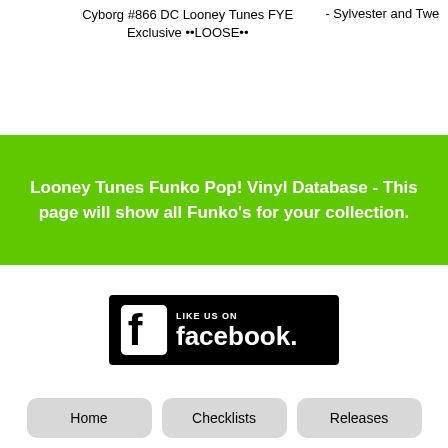Cyborg #866 DC Looney Tunes FYE Exclusive ••LOOSE••
- Sylvester and Twe
Looney Tunes Funko Pop! Vinyl Database - This page will show all Funko's for your collection.
[Figure (logo): Like us on Facebook button - black rounded rectangle with Facebook 'f' icon on left and 'LIKE US ON facebook.' text on right in white]
Home
Checklists
Releases